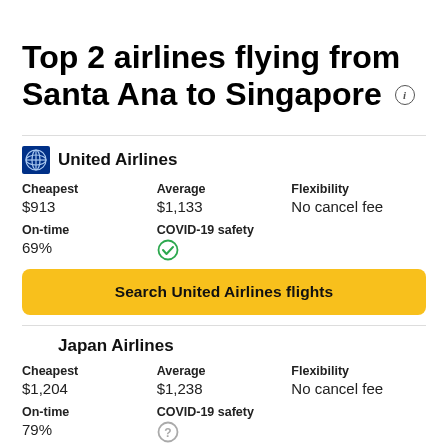Top 2 airlines flying from Santa Ana to Singapore
United Airlines
| Cheapest | Average | Flexibility |
| --- | --- | --- |
| $913 | $1,133 | No cancel fee |
| On-time | COVID-19 safety |
| --- | --- |
| 69% | ✓ |
Search United Airlines flights
Japan Airlines
| Cheapest | Average | Flexibility |
| --- | --- | --- |
| $1,204 | $1,238 | No cancel fee |
| On-time | COVID-19 safety |
| --- | --- |
| 79% | ? |